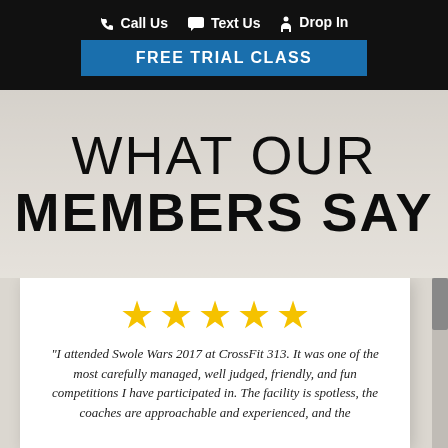Call Us   Text Us   Drop In
FREE TRIAL CLASS
WHAT OUR MEMBERS SAY
★★★★★
“I attended Swole Wars 2017 at CrossFit 313. It was one of the most carefully managed, well judged, friendly, and fun competitions I have participated in. The facility is spotless, the coaches are approachable and experienced, and the